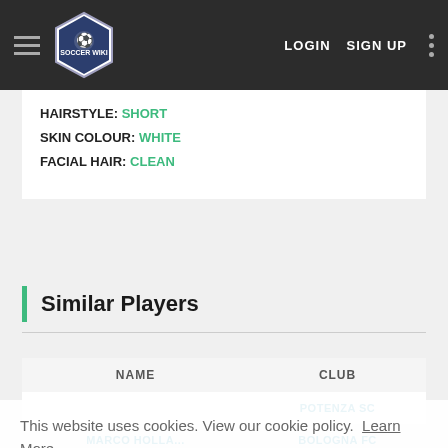Soccer Wiki — LOGIN SIGN UP
HAIRSTYLE: SHORT
SKIN COLOUR: WHITE
FACIAL HAIR: CLEAN
Similar Players
| NAME | CLUB |
| --- | --- |
|  | POTENZA SC |
| MARCO HOLLA... | BOLOGNA FC |
| GABRIEL PEREIRA | ATHLETICO PARANAENSE |
This website uses cookies. View our cookie policy. Learn More
Okay